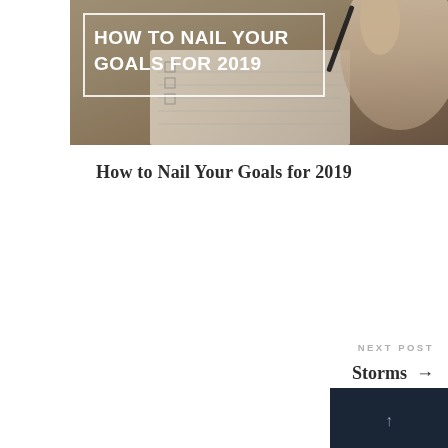[Figure (photo): Hero image showing a hand writing on a checklist notebook with a pen, with a title overlay reading HOW TO NAIL YOUR GOALS FOR 2019 inside a white rectangular border. Background is warm sepia/tan tones.]
How to Nail Your Goals for 2019
NEXT POST
Storms →
[Figure (other): Dark navy thumbnail image with a scroll-to-top arrow indicator]